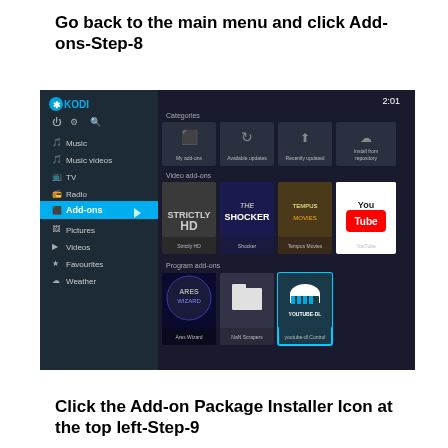Go back to the main menu and click Add-ons-Step-8
[Figure (screenshot): Kodi media center interface showing the Add-ons section. Left sidebar displays menu items: Music, Music videos, TV, Radio, Add-ons (highlighted in blue), Pictures, Videos, Favourites, Weather. Main area shows Categories section with icons: My add-ons, Available updates, Recently updated, Install from repository. Video add-ons section shows: Strictly HD, Shocker, Tempus Movies, YouTube. Program add-ons section shows: Ares Wizard, NaN Scrapers, youtube-dl Control.]
Click the Add-on Package Installer Icon at the top left-Step-9